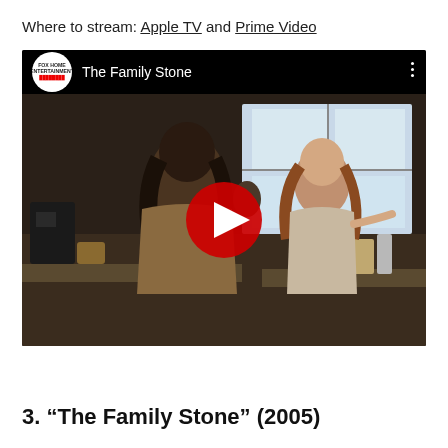Where to stream: Apple TV and Prime Video
[Figure (screenshot): YouTube embedded video thumbnail for 'The Family Stone' showing two women in a kitchen scene. The video has a dark top bar with a Fox Home Entertainment logo circle, the title 'The Family Stone', and a red YouTube play button in the center.]
3. “The Family Stone” (2005)